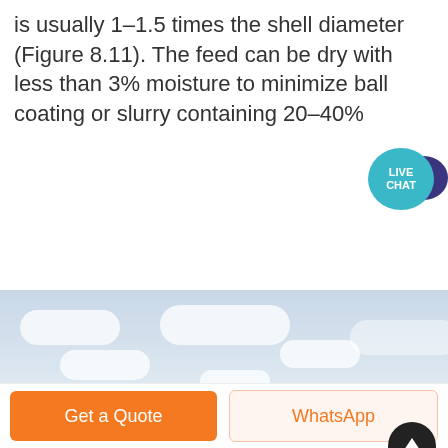is usually 1–1.5 times the shell diameter (Figure 8.11). The feed can be dry with less than 3% moisture to minimize ball coating or slurry containing 20–40%
[Figure (illustration): Orange 'Get price' button with rounded corners and a teal 'LIVE CHAT' speech bubble icon with dark blue background bubble in the upper right corner]
[Figure (photo): Photograph of industrial ball mill equipment against a cloudy sky background, with trees visible in the background]
[Figure (illustration): Black circular scroll-to-top button with upward chevron arrow]
[Figure (illustration): Bottom action bar with orange 'Get a Quote' button on the left and light orange 'WhatsApp' button on the right]